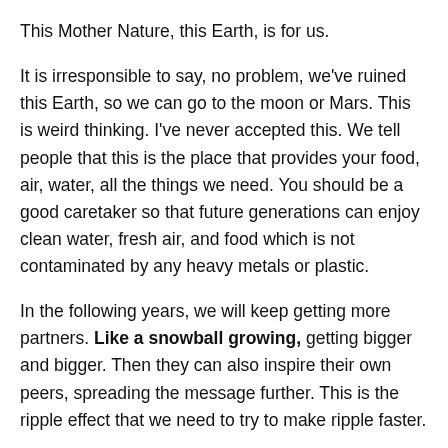This Mother Nature, this Earth, is for us.
It is irresponsible to say, no problem, we've ruined this Earth, so we can go to the moon or Mars. This is weird thinking. I've never accepted this. We tell people that this is the place that provides your food, air, water, all the things we need. You should be a good caretaker so that future generations can enjoy clean water, fresh air, and food which is not contaminated by any heavy metals or plastic.
In the following years, we will keep getting more partners. Like a snowball growing, getting bigger and bigger. Then they can also inspire their own peers, spreading the message further. This is the ripple effect that we need to try to make ripple faster.
#6 – What more can people who are